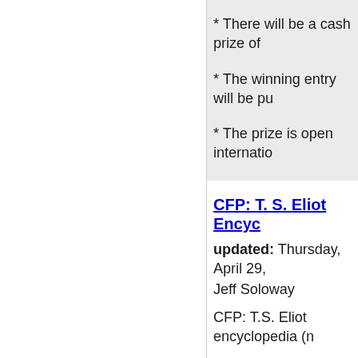* There will be a cash prize of
* The winning entry will be pu
* The prize is open internatio
CFP: T. S. Eliot Encyc
updated: Thursday, April 29,
Jeff Soloway
CFP: T.S. Eliot encyclopedia (n
Facts On File, a New York pub libraries, is seeking a scholar life and works of T.S. Eliot. Th knowledge of Eliot's works, an for students in both high scho